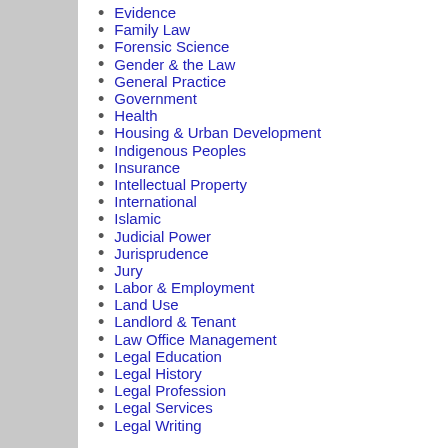Evidence
Family Law
Forensic Science
Gender & the Law
General Practice
Government
Health
Housing & Urban Development
Indigenous Peoples
Insurance
Intellectual Property
International
Islamic
Judicial Power
Jurisprudence
Jury
Labor & Employment
Land Use
Landlord & Tenant
Law Office Management
Legal Education
Legal History
Legal Profession
Legal Services
Legal Writing